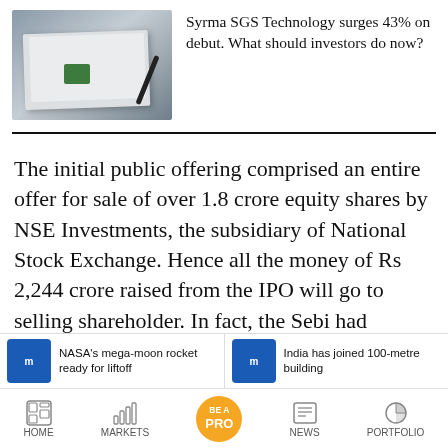[Figure (photo): Photo of notebooks, pen, and a circuit chip on a desk surface]
Syrma SGS Technology surges 43% on debut. What should investors do now?
The initial public offering comprised an entire offer for sale of over 1.8 crore equity shares by NSE Investments, the subsidiary of National Stock Exchange. Hence all the money of Rs 2,244 crore raised from the IPO will go to selling shareholder. In fact, the Sebi had directed NSE Investments to divest its entire
NASA's mega-moon rocket ready for liftoff
India has joined 100-metre building
HOME   MARKETS   BE A PRO   NEWS   PORTFOLIO